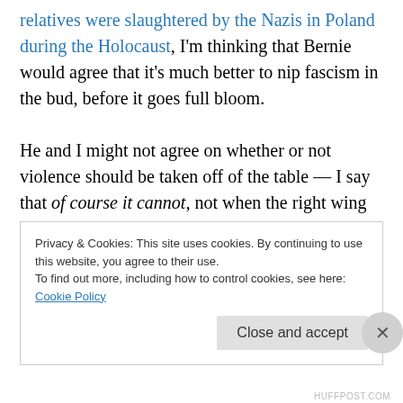relatives were slaughtered by the Nazis in Poland during the Holocaust, I'm thinking that Bernie would agree that it's much better to nip fascism in the bud, before it goes full bloom.

He and I might not agree on whether or not violence should be taken off of the table — I say that of course it cannot, not when the right wing never takes it off of the table; you never unilaterally disarm — but I'm sure that he and I agree that preventing the rise of Nazi Germany 2.0 here in the United States of America is of paramount
Privacy & Cookies: This site uses cookies. By continuing to use this website, you agree to their use.
To find out more, including how to control cookies, see here: Cookie Policy
HUFFPOST.COM